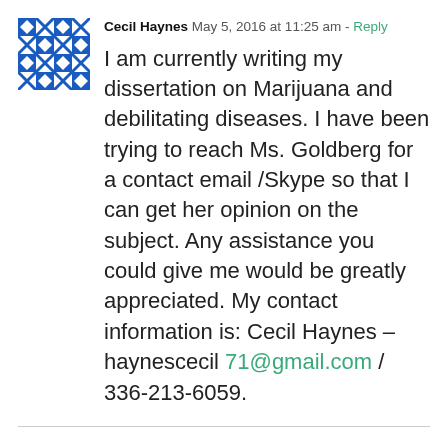[Figure (illustration): Blue and white geometric/quilt pattern avatar icon]
Cecil Haynes  May 5, 2016 at 11:25 am - Reply
I am currently writing my dissertation on Marijuana and debilitating diseases. I have been trying to reach Ms. Goldberg for a contact email /Skype so that I can get her opinion on the subject. Any assistance you could give me would be greatly appreciated. My contact information is: Cecil Haynes – haynescecil 71@gmail.com / 336-213-6059.
Leave A Comment